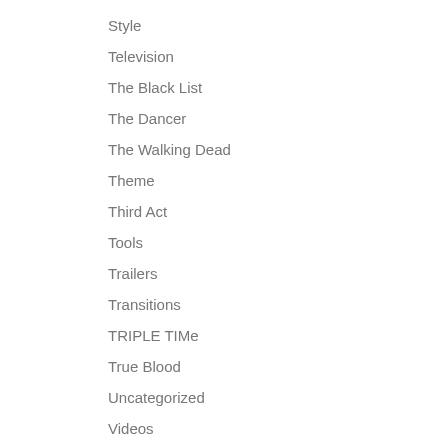Style
Television
The Black List
The Dancer
The Walking Dead
Theme
Third Act
Tools
Trailers
Transitions
TRIPLE TIMe
True Blood
Uncategorized
Videos
Villains